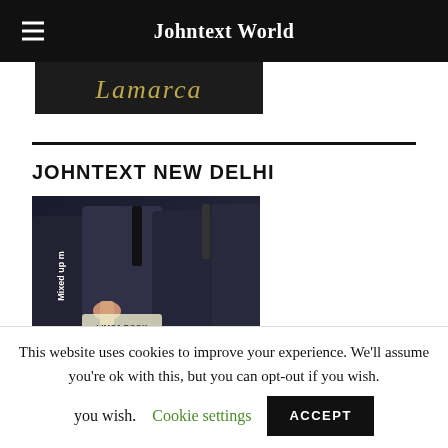Johntext World
[Figure (photo): Dark background image with Lamarca script text in gold/olive color]
JOHNTEXT NEW DELHI
[Figure (photo): Men in formal suits at an event, with text overlay reading 'Mixed up m' vertically on the left side and LIMCA BOOK visible at the bottom]
This website uses cookies to improve your experience. We'll assume you're ok with this, but you can opt-out if you wish. Cookie settings ACCEPT